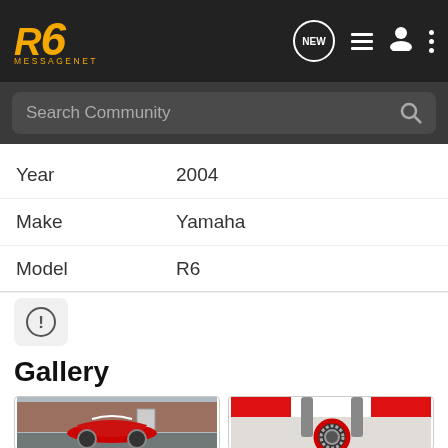R6 MessageNet - navigation header with logo, NEW chat button, list icon, user icon, menu dots
Search Community
| Field | Value |
| --- | --- |
| Year | 2004 |
| Make | Yamaha |
| Model | R6 |
Gallery
[Figure (photo): Red and white Yamaha R6 motorcycle parked in front of a brick building]
[Figure (photo): Close-up front wheel of a red and white Yamaha R6 motorcycle showing brake disc and red rim]